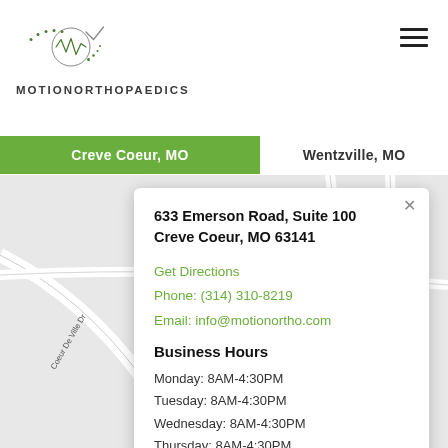[Figure (logo): Motion Orthopaedics logo with circular icon containing a stylized waveform and dotted path]
MOTION ORTHOPAEDICS
Creve Coeur, MO
Wentzville, MO
[Figure (map): Street map showing Creve Coeur area roads including Coeur De Ville Dr, E Rue De La Banque, N New Ballas Rd]
633 Emerson Road, Suite 100
Creve Coeur, MO 63141

Get Directions
Phone: (314) 310-8219
Email: info@motionortho.com

Business Hours

Monday: 8AM-4:30PM
Tuesday: 8AM-4:30PM
Wednesday: 8AM-4:30PM
Thursday: 8AM-4:30PM
Friday: 8AM-4:30PM
Saturday: Closed
Sunday: Closed